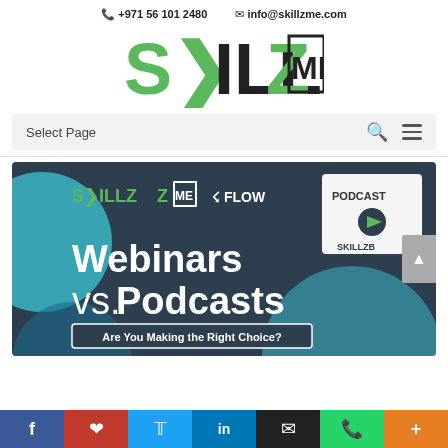+971 56 101 2480   info@skillzme.com
[Figure (logo): SkillzMe logo — stylized text SKILLZ ME in green and dark colors]
Select Page
[Figure (illustration): SkillzMe banner image with dark teal background, SkillzMe and Flow logos, text 'Webinars vs. Podcasts — Are You Making the Right Choice?', podcast badge top right, decorative teal and blue circles]